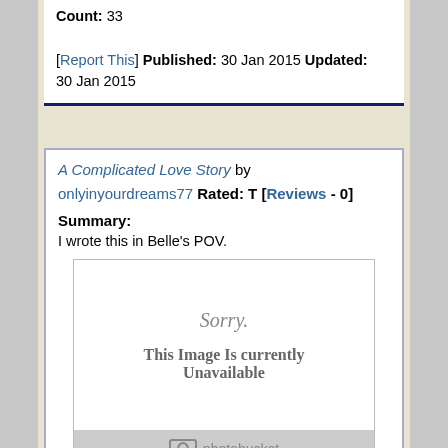Count: 33
[Report This] Published: 30 Jan 2015 Updated: 30 Jan 2015
A Complicated Love Story by onlyinyourdreams77 Rated: T [Reviews - 0]
Summary:
I wrote this in Belle's POV.
[Figure (other): Photobucket image placeholder showing 'Sorry. This Image Is Currently Unavailable']
Categories: Once Upon a Time
Characters: Rumpelstilkin/Belle
Genre: Angst, Drama, Friendship, Hurt/Comfort, Poetry, Romance